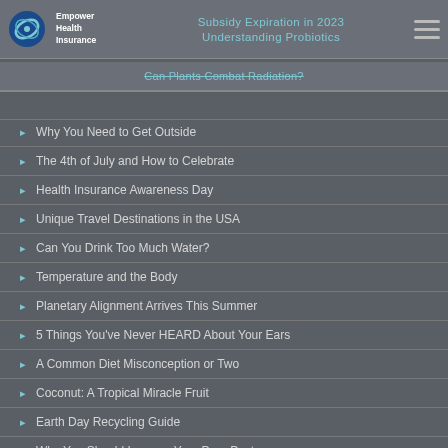Empower Health Insurance | Subsidy Expiration in 2023 | Understanding Probiotics | Can Plants Combat Radiation?
Why You Need to Get Outside
The 4th of July and How to Celebrate
Health Insurance Awareness Day
Unique Travel Destinations in the USA
Can You Drink Too Much Water?
Temperature and the Body
Planetary Alignment Arrives This Summer
5 Things You've Never HEARD About Your Ears
A Common Diet Misconception or Two
Coconut: A Tropical Miracle Fruit
Earth Day Recycling Guide
Why You Should Improve Your Poor Posture
Magnesium Levels and Sleep
The Importance of Essential Fatty Acids
Tips for Maintaining Firework Safety
Out With the Old, In With the Turducken?